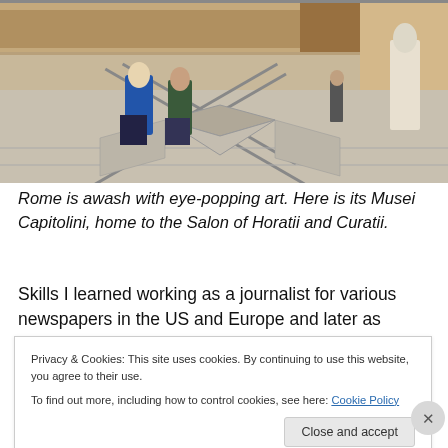[Figure (photo): Interior of Musei Capitolini, Salon of Horatii and Curatii in Rome. Two visitors stand in the foreground on a decorative geometric marble floor. The walls are covered with large classical frescoes and maps. The hall stretches into the distance where more visitors are visible.]
Rome is awash with eye-popping art. Here is its Musei Capitolini, home to the Salon of Horatii and Curatii.
Skills I learned working as a journalist for various newspapers in the US and Europe and later as foreign
Privacy & Cookies: This site uses cookies. By continuing to use this website, you agree to their use.
To find out more, including how to control cookies, see here: Cookie Policy
Close and accept